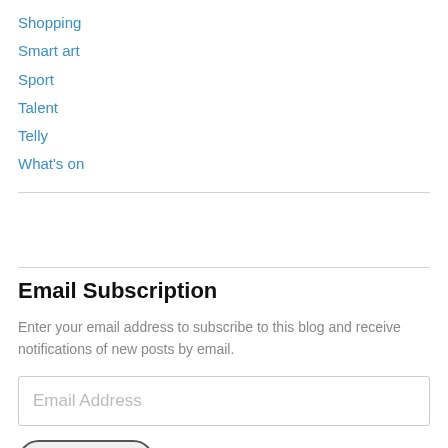Shopping
Smart art
Sport
Talent
Telly
What's on
Email Subscription
Enter your email address to subscribe to this blog and receive notifications of new posts by email.
Email Address
Sign me up!